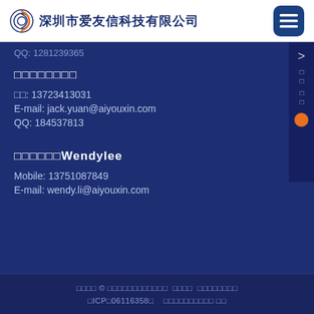深圳市爱友信科技有限公司
QQ: 1281239365
□□□□□□□□
□□: 13723413031
E-mail: jack.yuan@aiyouxin.com
QQ: 184537813
□□□□□□Wendylee
Mobile: 13751087849
E-mail: wendy.li@aiyouxin.com
□□□□ © □□□□□□□□□□□□ □□□□ □□□□□□□□ □ICP□06116358□ □□□□□□□□□□ □□